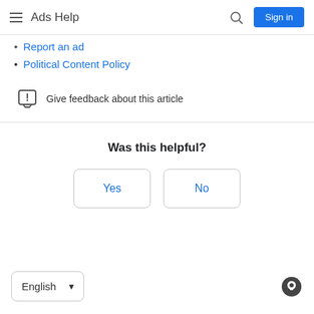Ads Help
Report an ad
Political Content Policy
Give feedback about this article
Was this helpful?
Yes
No
English